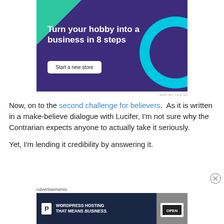[Figure (infographic): Advertisement banner with dark purple background, green triangle top-left, cyan circle top-right, white bold text 'Turn your hobby into a business in 8 steps', and a white button 'Start a new store']
REPORT THIS AD
Now, on to the second challenge for believers.  As it is written in a make-believe dialogue with Lucifer, I'm not sure why the Contrarian expects anyone to actually take it seriously.
Yet, I'm lending it credibility by answering it.
Advertisements
[Figure (infographic): WordPress hosting advertisement banner with dark navy background, P icon, text 'WORDPRESS HOSTING THAT MEANS BUSINESS.' and an image of an OPEN sign]